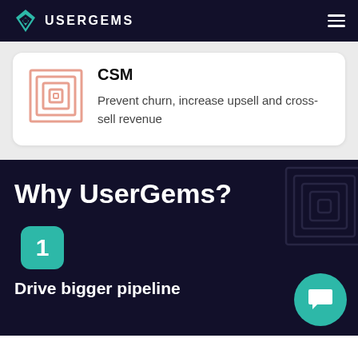USERGEMS
CSM
Prevent churn, increase upsell and cross-sell revenue
Why UserGems?
1
Drive bigger pipeline